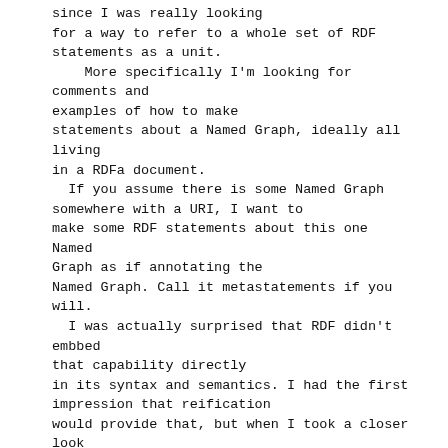since I was really looking for a way to refer to a whole set of RDF statements as a unit.
    More specifically I'm looking for comments and examples of how to make statements about a Named Graph, ideally all living in a RDFa document.
  If you assume there is some Named Graph somewhere with a URI, I want to make some RDF statements about this one Named Graph as if annotating the Named Graph. Call it metastatements if you will.
  I was actually surprised that RDF didn't embbed that capability directly in its syntax and semantics. I had the first impression that reification would provide that, but when I took a closer look (the conventional way of) reification was not referring to graphs as a whole.
  As for the conventional way of reification, I see some problems trying to apply it here. I can't find examples of what that would look like, but I can speculate. The reification statements would refer to the graph and break the graph apart. Trying still to stick to the so called "conventional way of reification", the reification statements would